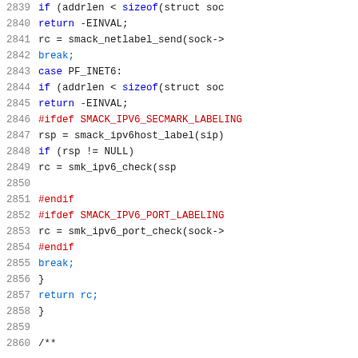Source code listing, lines 2839-2860, C kernel code with preprocessor directives for SMACK IPv6 security labeling